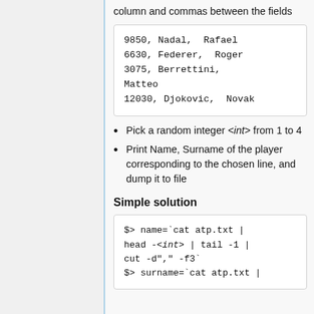column and commas between the fields
9850, Nadal,  Rafael
6630, Federer,  Roger
3075, Berrettini, Matteo
12030, Djokovic,  Novak
Pick a random integer <int> from 1 to 4
Print Name, Surname of the player corresponding to the chosen line, and dump it to file
Simple solution
$> name=`cat atp.txt | head -<int> | tail -1 | cut -d"," -f3`
$> surname=`cat atp.txt |